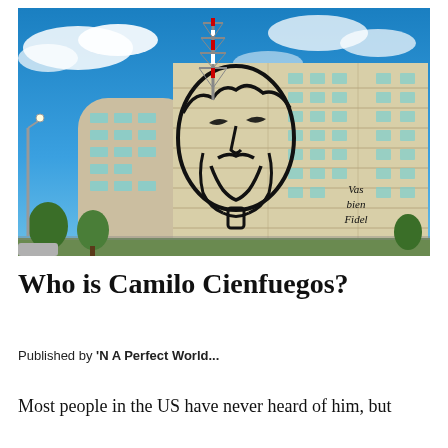[Figure (photo): Photograph of a large building facade with a bold black line-art mural/portrait of a bearded man (Camilo Cienfuegos) and inscription 'Vas bien Fidel'. A red and white communications tower rises behind, set against a bright blue cloudy sky with trees and street in the foreground.]
Who is Camilo Cienfuegos?
Published by 'N A Perfect World...
Most people in the US have never heard of him, but